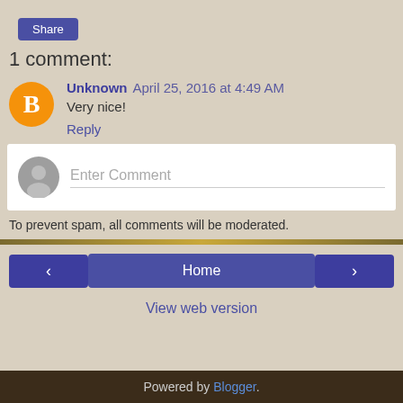Share
1 comment:
Unknown April 25, 2016 at 4:49 AM
Very nice!
Reply
Enter Comment
To prevent spam, all comments will be moderated.
< Home >
View web version
Powered by Blogger.